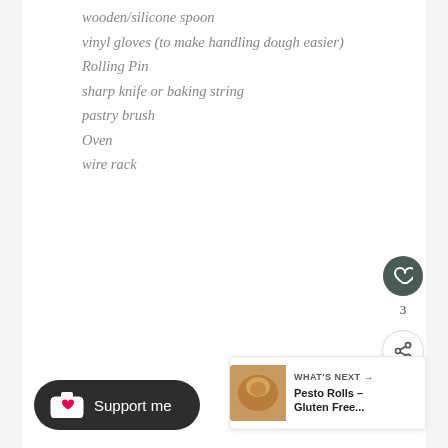wooden/silicone spoon
vinyl gloves (to make handling dough easier)
Rolling Pin
sharp knife or baking string
pastry brush
Oven
wire rack
[Figure (other): Heart/like button showing count of 3 likes, and a share button below]
[Figure (other): Support me button with coffee/heart icon on dark rounded pill button]
[Figure (other): What's Next card showing Pesto Rolls - Gluten Free... with a thumbnail image of rolls]